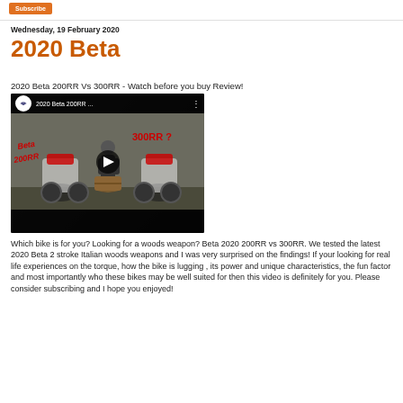Subscribe button (orange)
Wednesday, 19 February 2020
2020 Beta
2020 Beta 200RR Vs 300RR - Watch before you buy Review!
[Figure (screenshot): YouTube embedded video thumbnail showing two Beta dirt bikes (200RR and 300RR) with a person standing between them, red text overlays reading 'Beta 200RR' and '300RR ?', play button in center, video title '2020 Beta 200RR ...' in top bar]
Which bike is for you? Looking for a woods weapon? Beta 2020 200RR vs 300RR. We tested the latest 2020 Beta 2 stroke Italian woods weapons and I was very surprised on the findings! If your looking for real life experiences on the torque, how the bike is lugging , its power and unique characteristics, the fun factor and most importantly who these bikes may be well suited for then this video is definitely for you. Please consider subscribing and I hope you enjoyed!